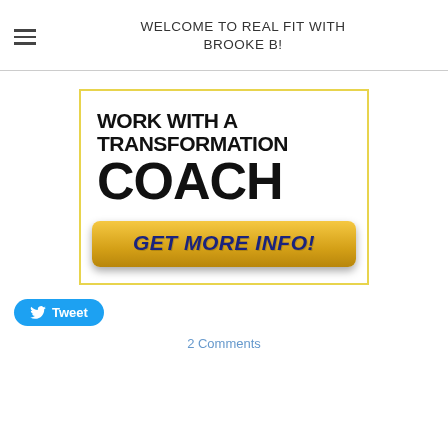WELCOME TO REAL FIT WITH BROOKE B!
[Figure (infographic): Advertisement banner with text 'WORK WITH A TRANSFORMATION COACH' in bold black uppercase letters on white background, with a yellow gradient button saying 'GET MORE INFO!' in dark blue bold italic text. The banner has a yellow border.]
Tweet
2 Comments